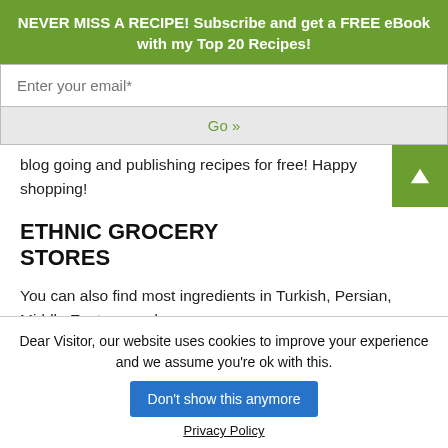NEVER MISS A RECIPE! Subscribe and get a FREE eBook with my Top 20 Recipes!
Enter your email*
Go »
blog going and publishing recipes for free! Happy shopping!
ETHNIC GROCERY STORES
You can also find most ingredients in Turkish, Persian, Middle Eastern, and
Dear Visitor, our website uses cookies to improve your experience and we assume you're ok with this.
Don't show this anymore
Privacy Policy